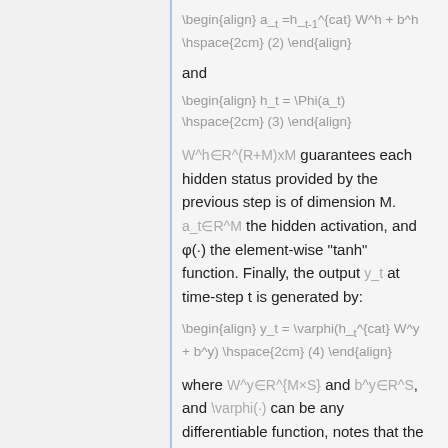and
W^h∈R^(R+M)xM guarantees each hidden status provided by the previous step is of dimension M. a_t∈R^M the hidden activation, and φ(·) the element-wise "tanh" function. Finally, the output y_t at time-step t is generated by:
where W^y∈R^{M×S} and b^y∈R^S, and \varphi(·) can be any differentiable function, notes that the "Phi" is the element-wise function which produces some non-linearity and further generates